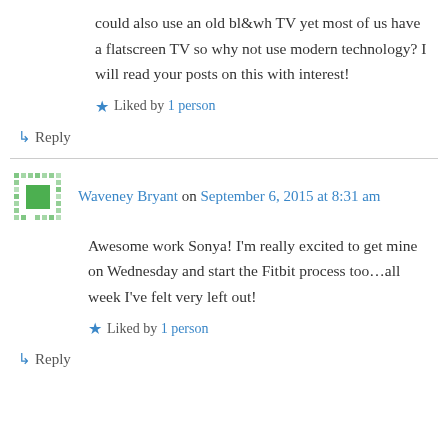could also use an old bl&wh TV yet most of us have a flatscreen TV so why not use modern technology? I will read your posts on this with interest!
★ Liked by 1 person
↳ Reply
Waveney Bryant on September 6, 2015 at 8:31 am
Awesome work Sonya! I'm really excited to get mine on Wednesday and start the Fitbit process too…all week I've felt very left out!
★ Liked by 1 person
↳ Reply